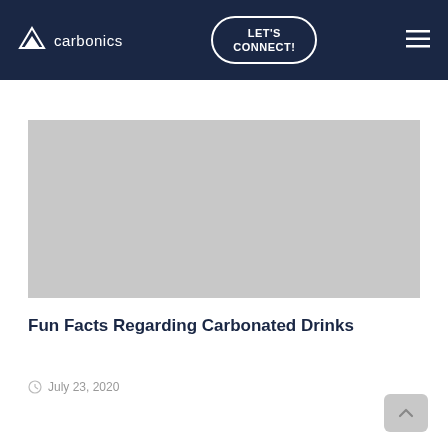carbonics | LET'S CONNECT!
[Figure (photo): Gray placeholder image for article about carbonated drinks]
Fun Facts Regarding Carbonated Drinks
July 23, 2020